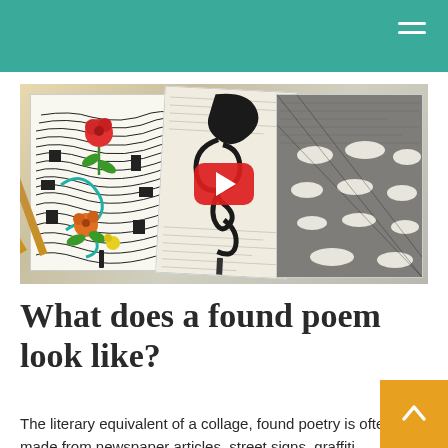[Figure (photo): A YouTube video thumbnail showing found poetry artwork: colored pencil drawings with flowing lines and flowers on one sheet, abstract black ink curls on a text page in the middle, and a dark charcoal face-like rubbing on a text page on the right. A red YouTube play button is centered on the image. Colored pencils are visible in the lower left.]
What does a found poem look like?
The literary equivalent of a collage, found poetry is often made from newspaper articles, street signs, graffiti, speeches, letters, or even other poems. A pure found poem consists exclusively of outside texts: